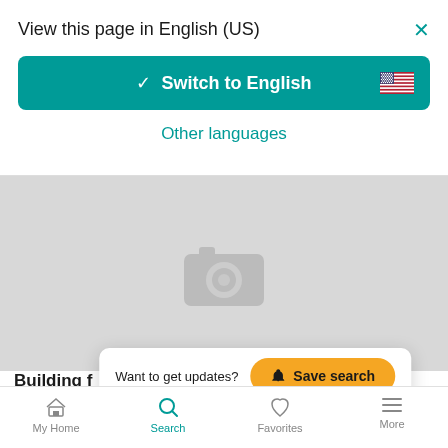View this page in English (US)
[Figure (screenshot): Teal button with checkmark and text 'Switch to English' and a US flag icon on the right]
Other languages
[Figure (photo): Gray placeholder listing photo with camera icon]
Building f  , 39/Q, i...
Modugno, CONTRADA CONELLA N 39 Q, 39/Q
Want to get updates?  Save search
My Home  Search  Favorites  More